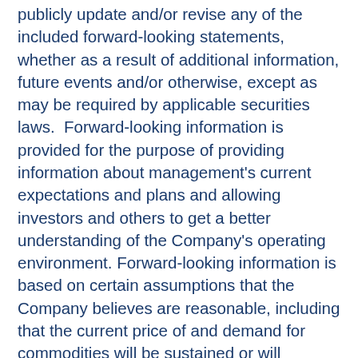publicly update and/or revise any of the included forward-looking statements, whether as a result of additional information, future events and/or otherwise, except as may be required by applicable securities laws.  Forward-looking information is provided for the purpose of providing information about management's current expectations and plans and allowing investors and others to get a better understanding of the Company's operating environment. Forward-looking information is based on certain assumptions that the Company believes are reasonable, including that the current price of and demand for commodities will be sustained or will improve, the supply of commodities will remain stable, that the general business and economic conditions will not change in a material adverse manner, that financing will be available if and when needed on reasonable terms and that the Company will not experience any material labour dispute, accident, or failure of plant or equipment. These factors are not